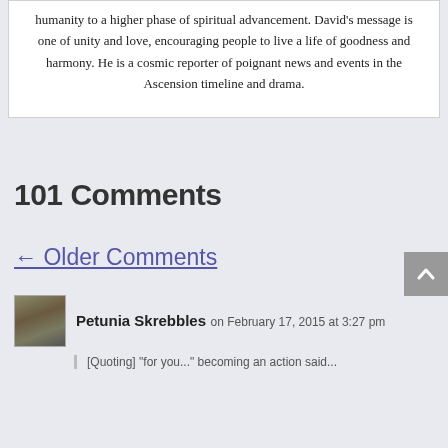humanity to a higher phase of spiritual advancement. David's message is one of unity and love, encouraging people to live a life of goodness and harmony. He is a cosmic reporter of poignant news and events in the Ascension timeline and drama.
101 Comments
← Older Comments
Petunia Skrebbles on February 17, 2015 at 3:27 pm
[Quoting] "for you..." becoming an action said...